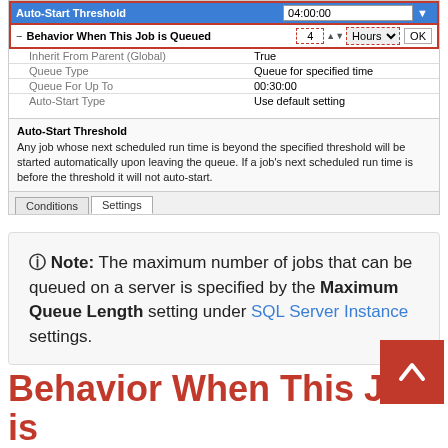[Figure (screenshot): Settings panel showing Auto-Start Threshold row highlighted in blue with value 04:00:00, Behavior When This Job is Queued row with inputs (4, Hours, OK), and sub-rows: Inherit From Parent (Global)=True, Queue Type=Queue for specified time, Queue For Up To=00:30:00, Auto-Start Type=Use default setting. Description box below explains Auto-Start Threshold. Conditions and Settings tabs at bottom.]
Note: The maximum number of jobs that can be queued on a server is specified by the Maximum Queue Length setting under SQL Server Instance settings.
Behavior When This Job is